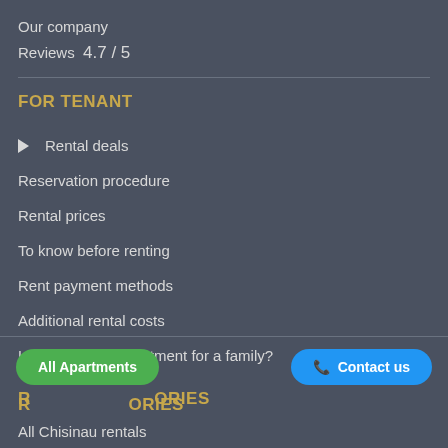Our company
Reviews  4.7 / 5
FOR TENANT
▶  Rental deals
Reservation procedure
Rental prices
To know before renting
Rent payment methods
Additional rental costs
How to rent an apartment for a family?
RENTAL CATEGORIES
All Chisinau rentals